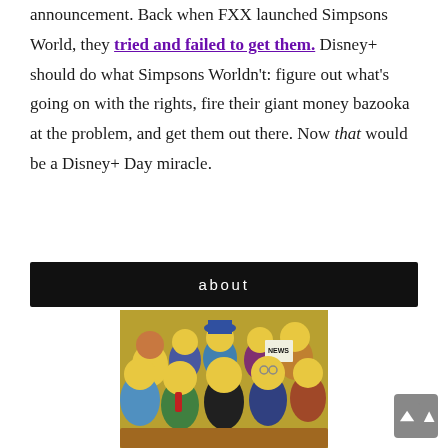announcement. Back when FXX launched Simpsons World, they tried and failed to get them. Disney+ should do what Simpsons Worldn't: figure out what's going on with the rights, fire their giant money bazooka at the problem, and get them out there. Now that would be a Disney+ Day miracle.
about
[Figure (illustration): Screenshot of a Simpsons animated scene showing a crowd of cartoon characters in yellow skin tones, one holding a newspaper labeled NEWS, gathered in what appears to be a courtroom or public setting.]